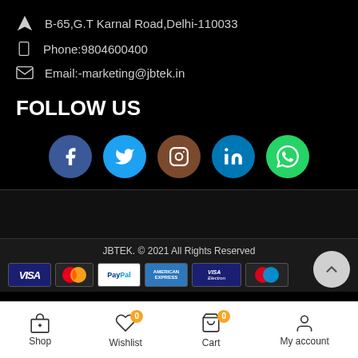B-65,G.T Karnal Road,Delhi-110033
Phone:9804600400
Email:-marketing@jbtek.in
FOLLOW US
[Figure (infographic): Social media icons: Facebook (dark blue), Twitter (cyan), Instagram (brown), LinkedIn (blue), WhatsApp (green)]
JBTEK. © 2021 All Rights Reserved
[Figure (infographic): Payment method logos: VISA, MasterCard, PayPal, American Express, Visa Electron, Maestro]
Shop | Wishlist (0) | Cart (0) | My account